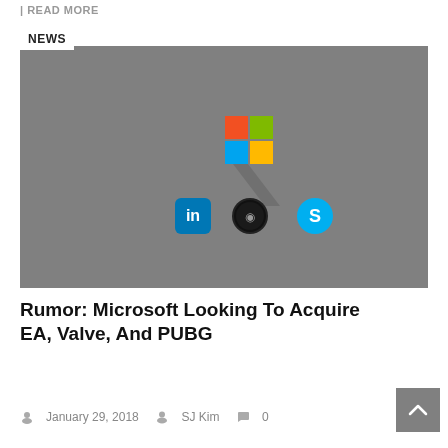| READ MORE
[Figure (screenshot): Microsoft logo with LinkedIn, Xbox, and Skype icons on a gray background, with a NEWS tag overlay]
Rumor: Microsoft Looking To Acquire EA, Valve, And PUBG
January 29, 2018  SJ Kim  0